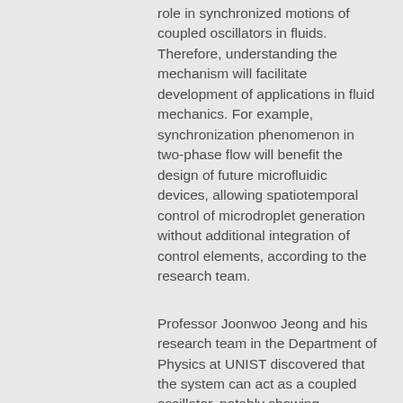role in synchronized motions of coupled oscillators in fluids. Therefore, understanding the mechanism will facilitate development of applications in fluid mechanics. For example, synchronization phenomenon in two-phase flow will benefit the design of future microfluidic devices, allowing spatiotemporal control of microdroplet generation without additional integration of control elements, according to the research team.
Professor Joonwoo Jeong and his research team in the Department of Physics at UNIST discovered that the system can act as a coupled oscillator, notably showing spontaneous in-phase synchronization of droplet breakup, using a characteristic oscillation of adjacent interfaces between two immiscible fluids in co-flowing fluidic channels.